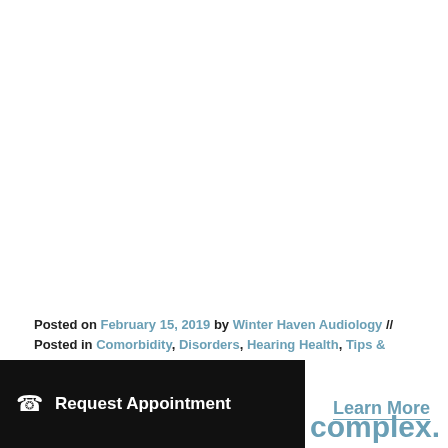Posted on February 15, 2019 by Winter Haven Audiology // Posted in Comorbidity, Disorders, Hearing Health, Tips & Tricks
Request Appointment
Learn More
complex. So